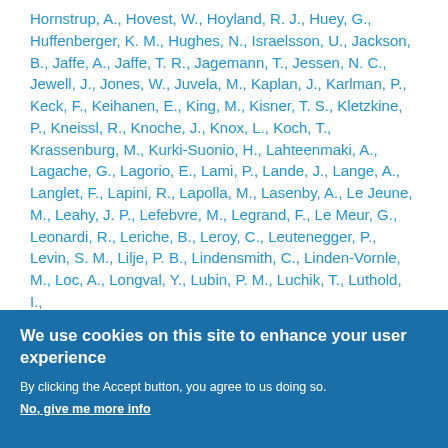Hornstrup, A., Hovest, W., Hoyland, R. J., Huey, G., Huffenberger, K. M., Hughes, N., Israelsson, U., Jackson, B., Jaffe, A., Jaffe, T. R., Jagemann, T., Jessen, N. C., Jewell, J., Jones, W., Juvela, M., Kaplan, J., Karlman, P., Keck, F., Keihanen, E., King, M., Kisner, T. S., Kletzkine, P., Kneissl, R., Knoche, J., Knox, L., Koch, T., Krassenburg, M., Kurki-Suonio, H., Lahteenmaki, A., Lagache, G., Lagorio, E., Lami, P., Lande, J., Lange, A., Langlet, F., Lapini, R., Lapolla, M., Lasenby, A., Le Jeune, M., Leahy, J. P., Lefebvre, M., Legrand, F., Le Meur, G., Leonardi, R., Leriche, B., Leroy, C., Leutenegger, P., Levin, S. M., Lilje, P. B., Lindensmith, C., Linden-Vornle, M., Loc, A., Longval, Y., Lubin, P. M., Luchik, T., Luthold, I.,
We use cookies on this site to enhance your user experience
By clicking the Accept button, you agree to us doing so.
No, give me more info